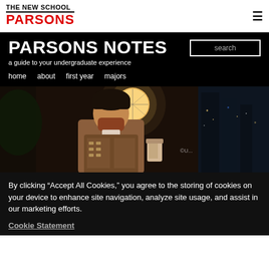THE NEW SCHOOL PARSONS
PARSONS NOTES
a guide to your undergraduate experience
home   about   first year   majors
[Figure (photo): Person wearing a face mask and an embellished vest standing outdoors at night near a glowing street lamp, holding a coffee cup]
By clicking “Accept All Cookies,” you agree to the storing of cookies on your device to enhance site navigation, analyze site usage, and assist in our marketing efforts.
Cookie Statement